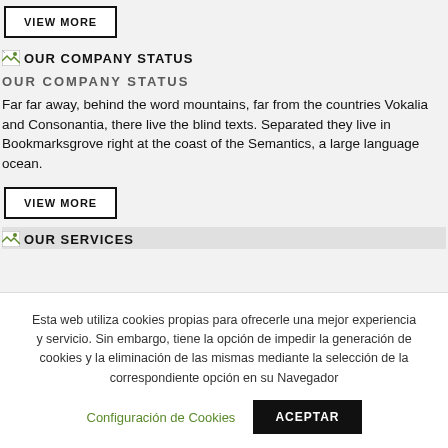VIEW MORE
[Figure (other): Broken image icon with text OUR COMPANY STATUS]
OUR COMPANY STATUS
Far far away, behind the word mountains, far from the countries Vokalia and Consonantia, there live the blind texts. Separated they live in Bookmarksgrove right at the coast of the Semantics, a large language ocean.
VIEW MORE
[Figure (other): Broken image icon with text OUR SERVICES]
Esta web utiliza cookies propias para ofrecerle una mejor experiencia y servicio. Sin embargo, tiene la opción de impedir la generación de cookies y la eliminación de las mismas mediante la selección de la correspondiente opción en su Navegador
Configuración de Cookies
ACEPTAR